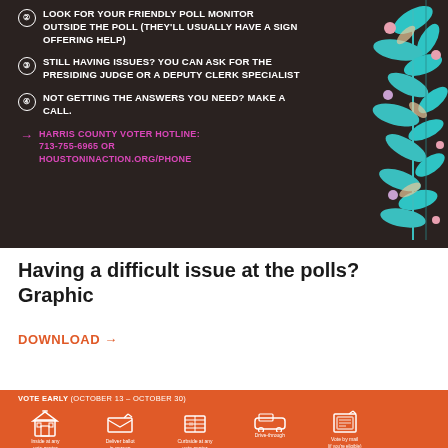[Figure (infographic): Dark background infographic with numbered steps for dealing with poll issues, featuring teal and pink floral decorations on the right side. Lists steps 2-4 and a hotline number in pink.]
LOOK FOR YOUR FRIENDLY POLL MONITOR OUTSIDE THE POLL (THEY'LL USUALLY HAVE A SIGN OFFERING HELP)
STILL HAVING ISSUES? YOU CAN ASK FOR THE PRESIDING JUDGE OR A DEPUTY CLERK SPECIALIST
NOT GETTING THE ANSWERS YOU NEED? MAKE A CALL.
HARRIS COUNTY VOTER HOTLINE: 713-755-6965 OR HOUSTONINACTION.ORG/PHONE
Having a difficult issue at the polls? Graphic
DOWNLOAD →
[Figure (infographic): Red/orange background section showing 'VOTE EARLY (OCTOBER 13 - OCTOBER 30)' with icons for: Inside at any vote center, Deliver ballot in-person (Oct 13 - Nov 1), Curbside at any vote center (if you're eligible), Drive-through, Vote by mail (if you're eligible, Oct 13 - Nov 1). Teal and pink floral decoration in top right corner.]